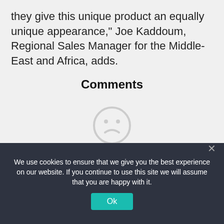they give this unique product an equally unique appearance," Joe Kaddoum, Regional Sales Manager for the Middle-East and Africa, adds.
Comments
[Figure (illustration): A sad/frowning face icon (circle with two dot eyes and a downward curved mouth) in light gray]
No comments yet.
We use cookies to ensure that we give you the best experience on our website. If you continue to use this site we will assume that you are happy with it.